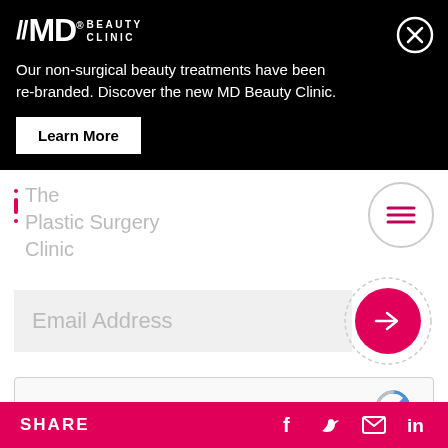[Figure (screenshot): MD Beauty Clinic banner with black background, logo, promotional text, Learn More button, and close button]
Our non-surgical beauty treatments have been re-branded. Discover the new MD Beauty Clinic.
Learn More
[Figure (logo): The Plastic Surgery Clinic logo with pink accent lines and grey text]
[Figure (other): Hamburger menu button inside a circle]
Email Address
[Figure (other): Pink arrow submit button with dashed circle border]
[Figure (other): reCAPTCHA widget with checkbox and 'I'm not a robot' text]
SHARE